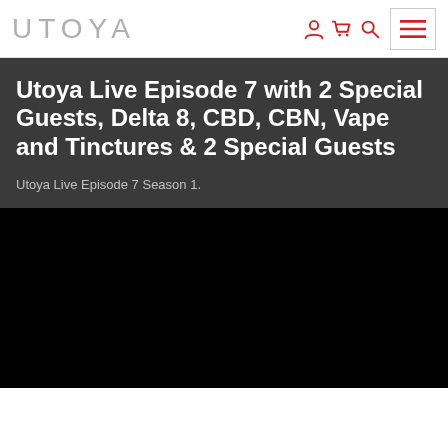UTOYA
Utoya Live Episode 7 with 2 Special Guests, Delta 8, CBD, CBN, Vape and Tinctures & 2 Special Guests
Utoya Live Episode 7 Season 1.
[Figure (screenshot): Black video player area below the episode title and subtitle]